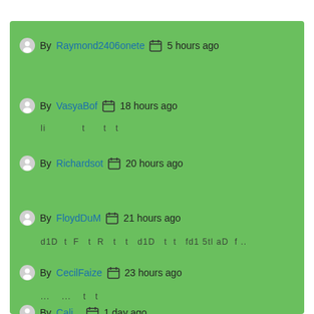By Raymond2406onete  5 hours ago
By VasyaBof  18 hours ago
li          t      t
By Richardsot  20 hours ago
By FloydDuM  21 hours ago
d1D   t   F   t   R   t   t   d1D   t   t   fd1 5tl aD   f...
By CecilFaize  23 hours ago
...   ...   t   t
By Cali...  1 day ago